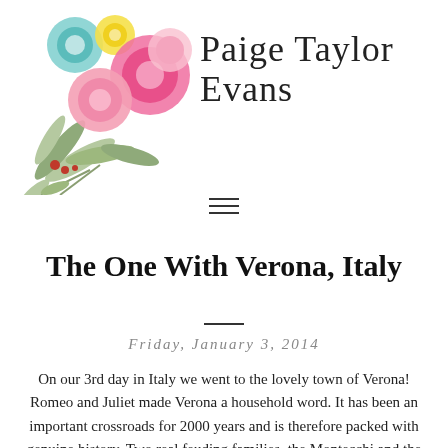[Figure (illustration): Watercolor floral bouquet with pink, teal, yellow flowers and green leaves in top-left corner, with handwritten script text 'Paige Taylor Evans' blog logo]
[Figure (other): Hamburger menu icon (three horizontal lines)]
The One With Verona, Italy
Friday, January 3, 2014
On our 3rd day in Italy we went to the lovely town of Verona! Romeo and Juliet made Verona a household word. It has been an important crossroads for 2000 years and is therefore packed with genuine history. Two real feuding families, the Montecchi and the